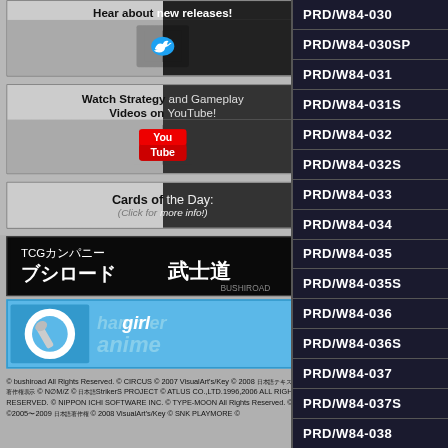[Figure (screenshot): Twitter follow box with bird icon, black and grey split background, text: Hear about new releases!]
[Figure (screenshot): YouTube box with YouTube logo, text: Watch Strategy and Gameplay Videos on YouTube!]
[Figure (screenshot): Cards of the Day box, text: Cards of the Day: (Click for more info!)]
[Figure (logo): Bushiroad TCG company banner in Japanese: TCGカンパニー ブシロード 武士道]
[Figure (logo): Hammer Girl Anime banner with blue background and logo]
© bushiroad All Rights Reserved. © CIRCUS © 2007 VisualArt's/Key © 2008 [Japanese text] © N∅M/Z © [Japanese]StrikerS PROJECT © ATLUS CO.,LTD.1996,2006 ALL RIGHTS RESERVED. © NIPPON ICHI SOFTWARE INC. © TYPE-MOON All Rights Reserved. © SEGA ©2005〜2009 [Japanese] © 2008 VisualArt's/Key © SNK PLAYMORE ©
PRD/W84-030
PRD/W84-030SP
PRD/W84-031
PRD/W84-031S
PRD/W84-032
PRD/W84-032S
PRD/W84-033
PRD/W84-034
PRD/W84-035
PRD/W84-035S
PRD/W84-036
PRD/W84-036S
PRD/W84-037
PRD/W84-037S
PRD/W84-038